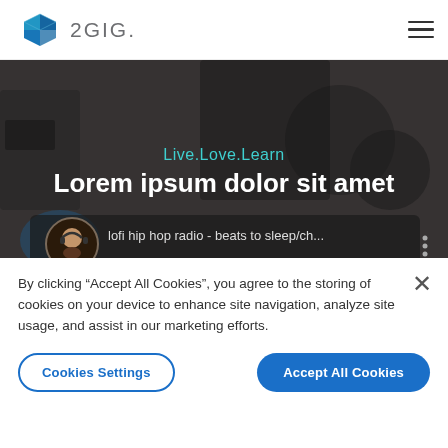[Figure (logo): 2GIG logo with blue cube icon and grey text '2GIG.']
[Figure (screenshot): Hero section with dark background showing text 'Live.Love.Learn' in teal and 'Lorem ipsum dolor sit amet' in white bold, with a YouTube-style player overlay showing 'lofi hip hop radio - beats to sleep/ch...' and an animated character illustration below.]
By clicking “Accept All Cookies”, you agree to the storing of cookies on your device to enhance site navigation, analyze site usage, and assist in our marketing efforts.
Cookies Settings
Accept All Cookies